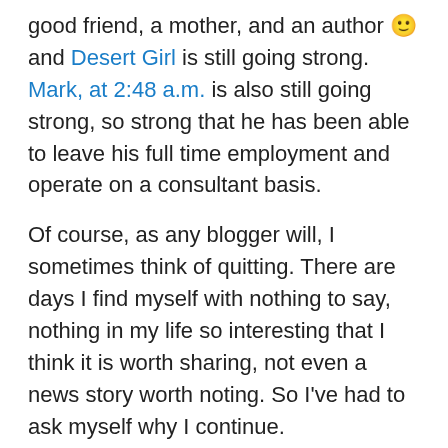good friend, a mother, and an author 🙂 and Desert Girl is still going strong. Mark, at 2:48 a.m. is also still going strong, so strong that he has been able to leave his full time employment and operate on a consultant basis.
Of course, as any blogger will, I sometimes think of quitting. There are days I find myself with nothing to say, nothing in my life so interesting that I think it is worth sharing, not even a news story worth noting. So I've had to ask myself why I continue.
I do it for myself. When I started, I had a reason and that reason still stands. I forget things. This isn't age-related, it's busy-life busy-world related; we forget the details.
My Mother saved all my letters from Tunisia. I remember reading them and laughing because at three, my son's best friend in his day school was a boy he called Outlet. I...